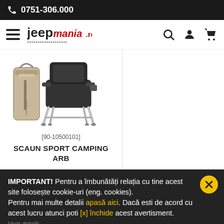📞 0751-306.000
[Figure (logo): JeepMania.ro logo with hamburger menu icon and navigation icons (search, user, cart)]
[Figure (photo): Camping sport chair (ARB) in black and tan color with carrying bag, folding metal frame]
[90-10500101]
SCAUN SPORT CAMPING ARB
IMPORTANT! Pentru a îmbunătăți relația cu tine acest site folosește cookie-uri (eng. cookies). Pentru mai multe detalii apasă aici. Dacă esti de acord cu acest lucru atunci poti [x] închide acest avertisment. Vezi detalii